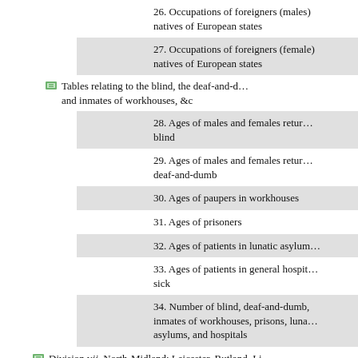26. Occupations of foreigners (males) natives of European states
27. Occupations of foreigners (females) natives of European states
Tables relating to the blind, the deaf-and-dumb and inmates of workhouses, &c
28. Ages of males and females returned blind
29. Ages of males and females returned deaf-and-dumb
30. Ages of paupers in workhouses
31. Ages of prisoners
32. Ages of patients in lunatic asylums
33. Ages of patients in general hospitals and sick
34. Number of blind, deaf-and-dumb, inmates of workhouses, prisons, lunatic asylums, and hospitals
Division vii. North-Midland: Leicester, Rutland, Lincoln, Nottingham, Derby
Tables of ages
1. Ages of males and females enumerated April 8th, 1861, in registration or union counties
2. Ages of males and females in superintendent registrars' districts